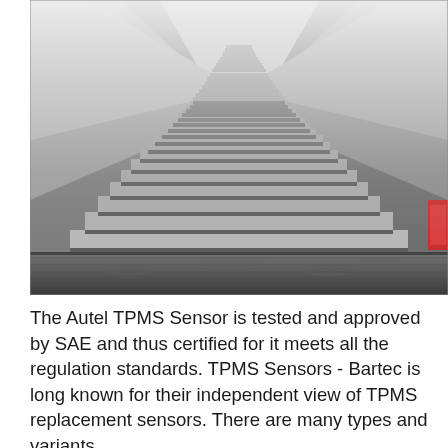[Figure (photo): Black and white photograph of a long staircase ascending into thick fog or mist, with stone walls on either side. The steps are tiled with decorative patterns. The bottom foreground shows wet cobblestone pavement. A red object is partially visible on the right wall.]
The Autel TPMS Sensor is tested and approved by SAE and thus certified for it meets all the regulation standards. TPMS Sensors - Bartec is long known for their independent view of TPMS replacement sensors. There are many types and variants